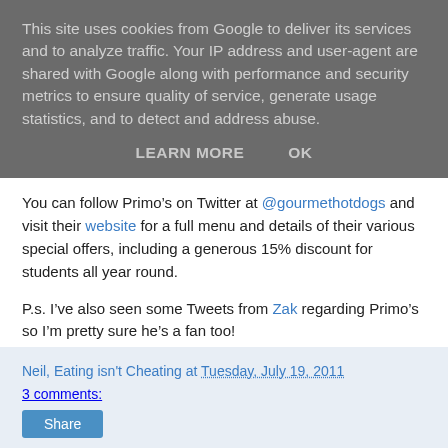This site uses cookies from Google to deliver its services and to analyze traffic. Your IP address and user-agent are shared with Google along with performance and security metrics to ensure quality of service, generate usage statistics, and to detect and address abuse.
LEARN MORE   OK
You can follow Primo’s on Twitter at @gourmethotdogs and visit their website for a full menu and details of their various special offers, including a generous 15% discount for students all year round.
P.s. I’ve also seen some Tweets from Zak regarding Primo’s so I’m pretty sure he’s a fan too!
Neil, Eating isn't Cheating at Tuesday, July 19, 2011
3 comments:
Share